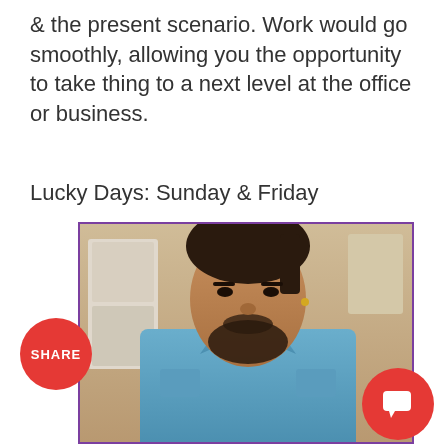& the present scenario. Work would go smoothly, allowing you the opportunity to take thing to a next level at the office or business.
Lucky Days: Sunday & Friday
[Figure (photo): A bearded man with hair pulled back, wearing a blue denim shirt, photographed in front of a blurred background. Red 'SHARE' button on the left side and a red chat button on the bottom right.]